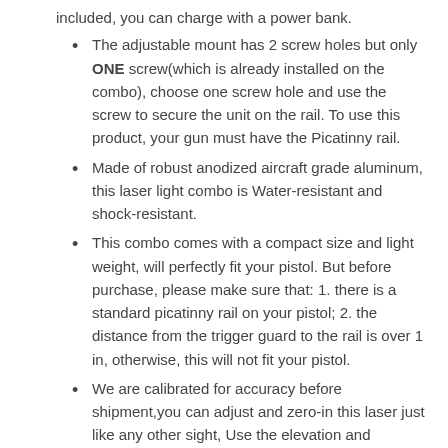included, you can charge with a power bank.
The adjustable mount has 2 screw holes but only ONE screw(which is already installed on the combo), choose one screw hole and use the screw to secure the unit on the rail. To use this product, your gun must have the Picatinny rail.
Made of robust anodized aircraft grade aluminum, this laser light combo is Water-resistant and shock-resistant.
This combo comes with a compact size and light weight, will perfectly fit your pistol. But before purchase, please make sure that: 1. there is a standard picatinny rail on your pistol; 2. the distance from the trigger guard to the rail is over 1 in, otherwise, this will not fit your pistol.
We are calibrated for accuracy before shipment,you can adjust and zero-in this laser just like any other sight, Use the elevation and windage wrenches included. Contact us if you have any concerns. Our products can be used in combat situation, So ZERO risk purchase.
Package Includes: 1x Laser Light combo, 1x Laser Adjustment